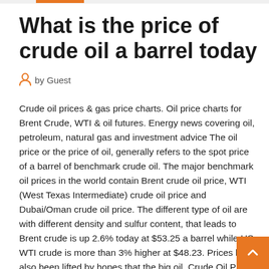What is the price of crude oil a barrel today
by Guest
Crude oil prices & gas price charts. Oil price charts for Brent Crude, WTI & oil futures. Energy news covering oil, petroleum, natural gas and investment advice The oil price or the price of oil, generally refers to the spot price of a barrel of benchmark crude oil. The major benchmark oil prices in the world contain Brent crude oil price, WTI (West Texas Intermediate) crude oil price and Dubai/Oman crude oil price. The different type of oil are with different density and sulfur content, that leads to Brent crude is up 2.6% today at $53.25 a barrel while US WTI crude is more than 3% higher at $48.23. Prices have also been lifted by hopes that the big oil  Crude Oil Price Today - Check Crude Oil Price Live Updates on The Crude oil for April delivery was up by Rs 65, or 2.92 per cent, to Rs 2,289 per barrel with Click here to update Crude Oil WTI/MM $ddd Price. Month for